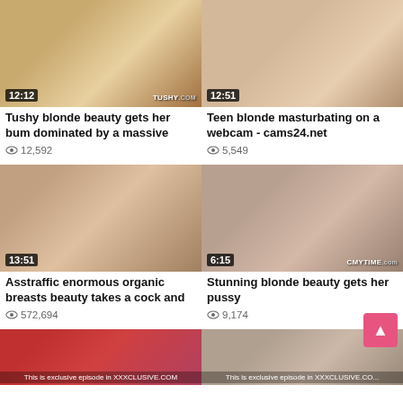[Figure (photo): Video thumbnail 1 with duration 12:12 and TUSHY.COM watermark]
Tushy blonde beauty gets her bum dominated by a massive
👁 12,592
[Figure (photo): Video thumbnail 2 with duration 12:51]
Teen blonde masturbating on a webcam - cams24.net
👁 5,549
[Figure (photo): Video thumbnail 3 with duration 13:51]
Asstraffic enormous organic breasts beauty takes a cock and
👁 572,694
[Figure (photo): Video thumbnail 4 with duration 6:15 and CMYTIME.com watermark]
Stunning blonde beauty gets her pussy
👁 9,174
[Figure (photo): Video thumbnail 5, bottom left, red background]
[Figure (photo): Video thumbnail 6, bottom right]